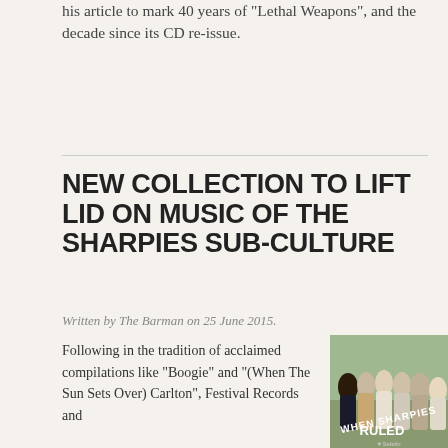his article to mark 40 years of "Lethal Weapons", and the decade since its CD re-issue.
NEW COLLECTION TO LIFT LID ON MUSIC OF THE SHARPIES SUB-CULTURE
Written by The Barman on 25 June 2015.
Following in the tradition of acclaimed compilations like “Boogie” and “(When The Sun Sets Over) Carlton”, Festival Records and
[Figure (photo): Album cover or promotional image for 'When Sharpies Ruled' showing a group of young men outdoors, with text overlaid reading 'WHEN SHARPIES RULED']